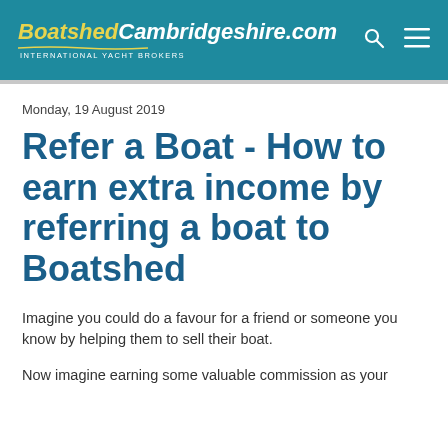BoatshedCambridgeshire.com INTERNATIONAL YACHT BROKERS
Monday, 19 August 2019
Refer a Boat - How to earn extra income by referring a boat to Boatshed
Imagine you could do a favour for a friend or someone you know by helping them to sell their boat.
Now imagine earning some valuable commission as your